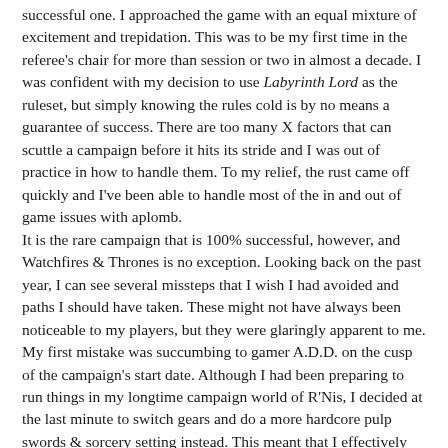successful one. I approached the game with an equal mixture of excitement and trepidation. This was to be my first time in the referee's chair for more than session or two in almost a decade. I was confident with my decision to use Labyrinth Lord as the ruleset, but simply knowing the rules cold is by no means a guarantee of success. There are too many X factors that can scuttle a campaign before it hits its stride and I was out of practice in how to handle them. To my relief, the rust came off quickly and I've been able to handle most of the in and out of game issues with aplomb.
It is the rare campaign that is 100% successful, however, and Watchfires & Thrones is no exception. Looking back on the past year, I can see several missteps that I wish I had avoided and paths I should have taken. These might not have always been noticeable to my players, but they were glaringly apparent to me.
My first mistake was succumbing to gamer A.D.D. on the cusp of the campaign's start date. Although I had been preparing to run things in my longtime campaign world of R'Nis, I decided at the last minute to switch gears and do a more hardcore pulp swords & sorcery setting instead. This meant that I effectively put myself